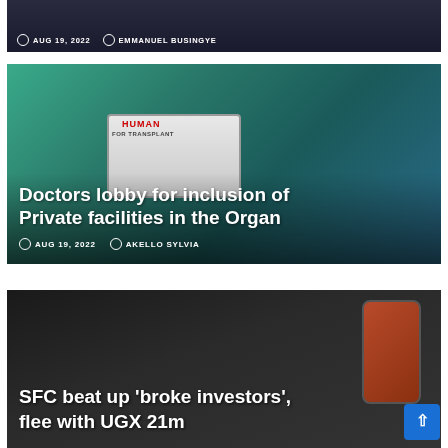[Figure (photo): Partial top of a dark-toned news article card with metadata showing date and author name]
AUG 19, 2022   EMMANUEL BUSINGYE
[Figure (photo): Medical professional in green scrubs holding a white organ transport case labeled HUMAN FOR TRANSPLANT in an operating room setting]
Doctors lobby for inclusion of Private facilities in the Organ
AUG 19, 2022   AKELLO SYLVIA
[Figure (photo): Dark-toned image of a person holding a phone, related to SFC investor story]
SFC beat up 'broke investors', flee with UGX 21m